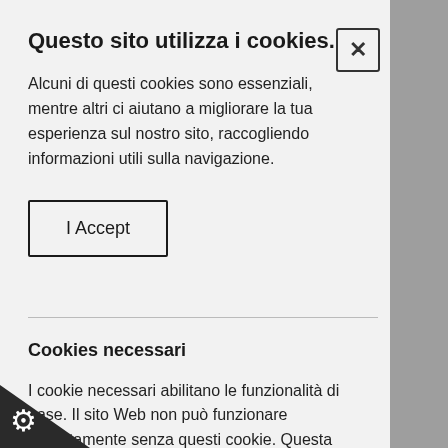Questo sito utilizza i cookies.
Alcuni di questi cookies sono essenziali, mentre altri ci aiutano a migliorare la tua esperienza sul nostro sito, raccogliendo informazioni utili sulla navigazione.
I Accept
Cookies necessari
I cookie necessari abilitano le funzionalità di base. Il sito Web non può funzionare correttamente senza questi cookie. Questa funzione può essere abilitata modificando le preferenze del tuo browser.